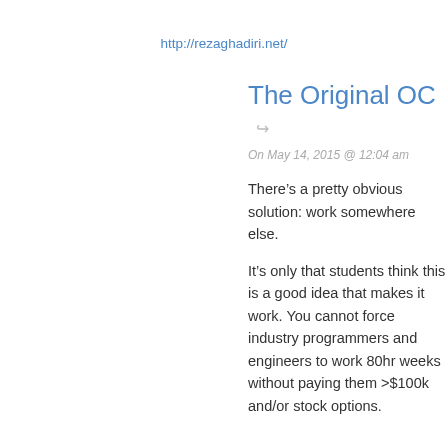http://rezaghadiri.net/
The Original OC
On May 14, 2015 @ 12:04 am
There’s a pretty obvious solution: work somewhere else.
It’s only that students think this is a good idea that makes it work. You cannot force industry programmers and engineers to work 80hr weeks without paying them >$100k and/or stock options.